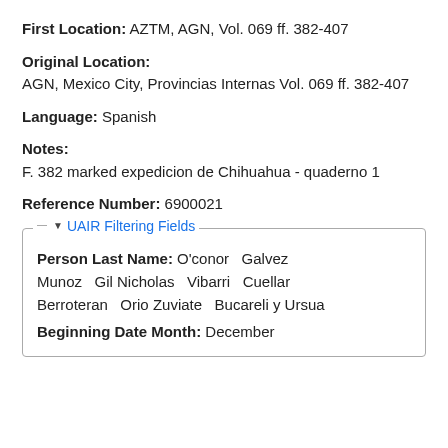First Location: AZTM, AGN, Vol. 069 ff. 382-407
Original Location:
AGN, Mexico City, Provincias Internas Vol. 069 ff. 382-407
Language: Spanish
Notes:
F. 382 marked expedicion de Chihuahua - quaderno 1
Reference Number: 6900021
UAIR Filtering Fields
Person Last Name: O'conor  Galvez  Munoz  Gil Nicholas  Vibarri  Cuellar  Berroteran  Orio Zuviate  Bucareli y Ursua
Beginning Date Month: December